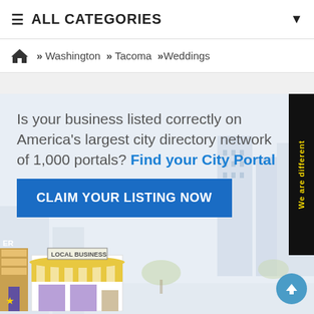≡ ALL CATEGORIES
» Washington » Tacoma »Weddings
[Figure (infographic): City directory promotional banner with illustrated city background, store illustration, claim listing button, and 'We are different' side tab. Text reads: Is your business listed correctly on America's largest city directory network of 1,000 portals? Find your City Portal. CLAIM YOUR LISTING NOW.]